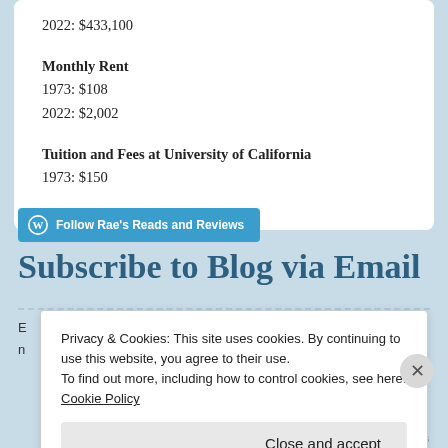2022: $433,100
Monthly Rent
1973: $108
2022: $2,002
Tuition and Fees at University of California
1973: $150
Follow Rae's Reads and Reviews
Subscribe to Blog via Email
E... d
r...
Privacy & Cookies: This site uses cookies. By continuing to use this website, you agree to their use.
To find out more, including how to control cookies, see here: Cookie Policy
Close and accept
WEBSITE.TUE.AG